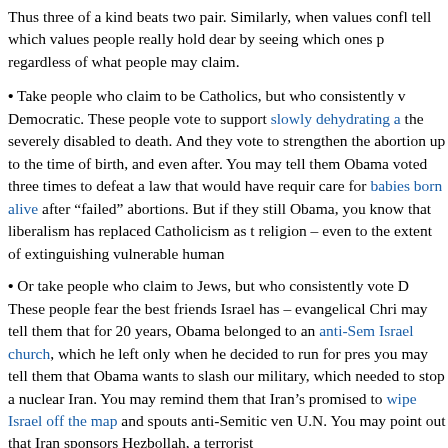Thus three of a kind beats two pair. Similarly, when values conflict, we can tell which values people really hold dear by seeing which ones prevail, regardless of what people may claim.
Take people who claim to be Catholics, but who consistently vote Democratic. These people vote to support slowly dehydrating and starving the severely disabled to death. And they vote to strengthen the right to abortion up to the time of birth, and even after. You may tell them that Obama voted three times to defeat a law that would have required medical care for babies born alive after "failed" abortions. But if they still vote for Obama, you know that liberalism has replaced Catholicism as their real religion – even to the extent of extinguishing vulnerable human
Or take people who claim to Jews, but who consistently vote Democratic. These people fear the best friends Israel has – evangelical Christians. You may tell them that for 20 years, Obama belonged to an anti-Semitic, anti-Israel church, which he left only when he decided to run for president. And you may tell them that Obama wants to slash our military, which might be needed to stop a nuclear Iran. You may remind them that Iran's leaders have promised to wipe Israel off the map and spouts anti-Semitic venom at the U.N. You may point out that Iran sponsors Hezbollah, a terrorist